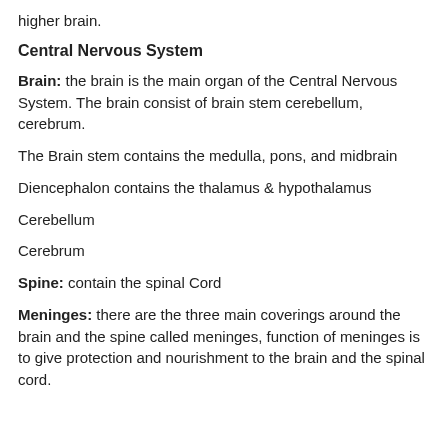higher brain.
Central Nervous System
Brain: the brain is the main organ of the Central Nervous System. The brain consist of brain stem cerebellum, cerebrum.
The Brain stem contains the medulla, pons, and midbrain
Diencephalon contains the thalamus & hypothalamus
Cerebellum
Cerebrum
Spine: contain the spinal Cord
Meninges: there are the three main coverings around the brain and the spine called meninges, function of meninges is to give protection and nourishment to the brain and the spinal cord.